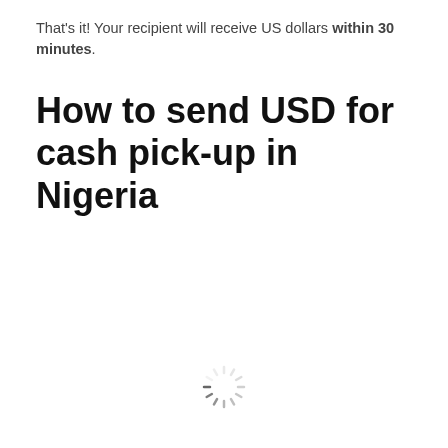That's it! Your recipient will receive US dollars within 30 minutes.
How to send USD for cash pick-up in Nigeria
[Figure (other): Loading spinner icon — a circular spinner with radiating lines in light gray]